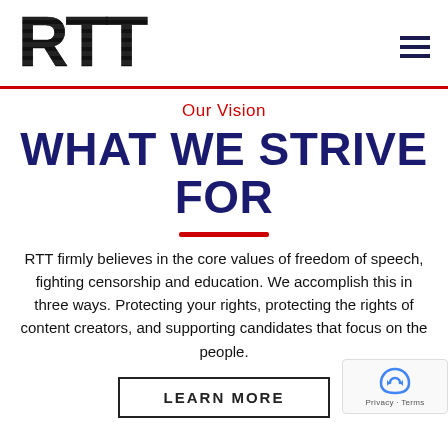RTT
Our Vision
WHAT WE STRIVE FOR
RTT firmly believes in the core values of freedom of speech, fighting censorship and education. We accomplish this in three ways. Protecting your rights, protecting the rights of content creators, and supporting candidates that focus on the people.
LEARN MORE